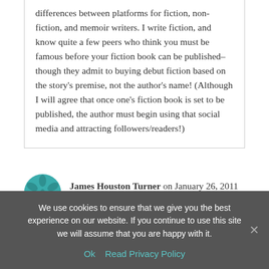differences between platforms for fiction, non-fiction, and memoir writers. I write fiction, and know quite a few peers who think you must be famous before your fiction book can be published–though they admit to buying debut fiction based on the story's premise, not the author's name! (Although I will agree that once one's fiction book is set to be published, the author must begin using that social media and attracting followers/readers!)
James Houston Turner on January 26, 2011 at 1:49
We use cookies to ensure that we give you the best experience on our website. If you continue to use this site we will assume that you are happy with it.
Ok   Read Privacy Policy